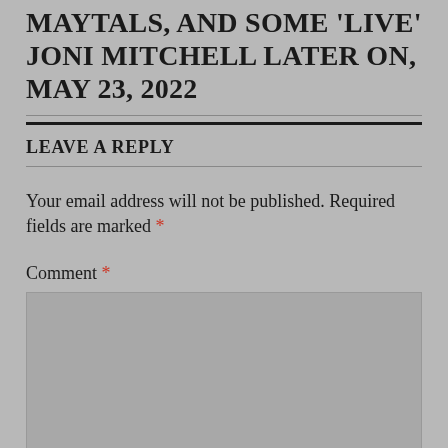MAYTALS, AND SOME 'LIVE' JONI MITCHELL LATER ON, MAY 23, 2022
LEAVE A REPLY
Your email address will not be published. Required fields are marked *
Comment *